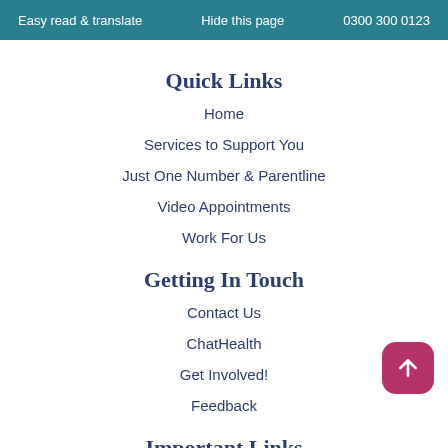Easy read & translate    Hide this page    0300 300 0123
Quick Links
Home
Services to Support You
Just One Number & Parentline
Video Appointments
Work For Us
Getting In Touch
Contact Us
ChatHealth
Get Involved!
Feedback
Important Links